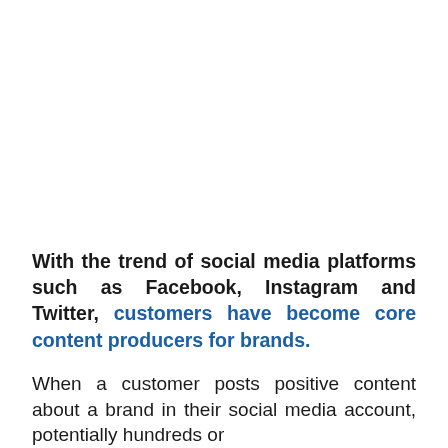With the trend of social media platforms such as Facebook, Instagram and Twitter, customers have become core content producers for brands.
When a customer posts positive content about a brand in their social media account, potentially hundreds or